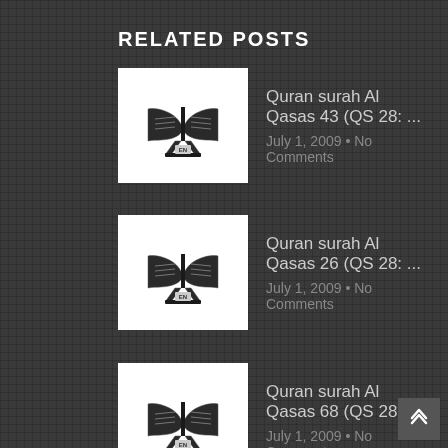RELATED POSTS
Quran surah Al Qasas 43 (QS 28: ...
July 1, 2009 • No Comments
Quran surah Al Qasas 26 (QS 28: ...
July 1, 2009 • No Comments
Quran surah Al Qasas 68 (QS 28: ...
July 1, 2009 • No Comments
Quran surah Al Qasas 29 (QS 28: ...
July 1, 2009 • No Comments